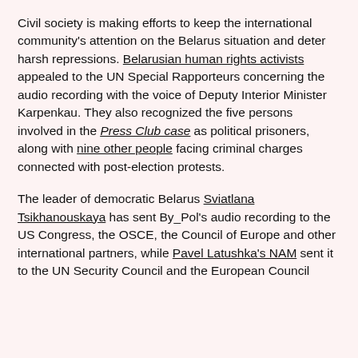Civil society is making efforts to keep the international community's attention on the Belarus situation and deter harsh repressions. Belarusian human rights activists appealed to the UN Special Rapporteurs concerning the audio recording with the voice of Deputy Interior Minister Karpenkau. They also recognized the five persons involved in the Press Club case as political prisoners, along with nine other people facing criminal charges connected with post-election protests.
The leader of democratic Belarus Sviatlana Tsikhanouskaya has sent By_Pol's audio recording to the US Congress, the OSCE, the Council of Europe and other international partners, while Pavel Latushka's NAM sent it to the UN Security Council and the European Council